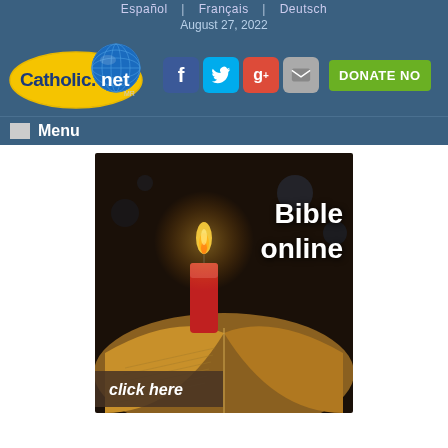Español | Français | Deutsch
August 27, 2022
[Figure (logo): Catholic.net logo with globe]
[Figure (infographic): Social media icons: Facebook, Twitter, Google+, Mail, and DONATE NOW button]
Menu
[Figure (photo): Bible online banner: red candle with flame illuminating an open Bible, text 'Bible online' in upper right and 'click here' in lower left]